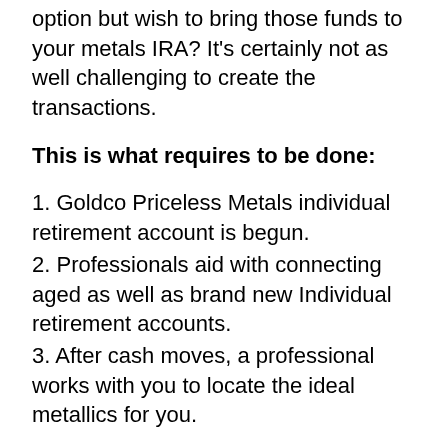option but wish to bring those funds to your metals IRA? It's certainly not as well challenging to create the transactions.
This is what requires to be done:
1. Goldco Priceless Metals individual retirement account is begun.
2. Professionals aid with connecting aged as well as brand new Individual retirement accounts.
3. After cash moves, a professional works with you to locate the ideal metallics for you.
Job carefully with your individual retirement account Professional during this time around. The whole roll-over takes all around 10 company times to experience.